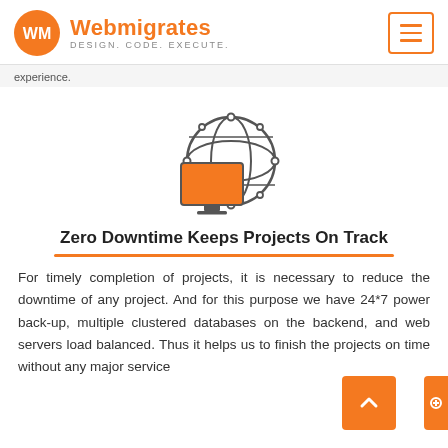Webmigrates — DESIGN. CODE. EXECUTE.
experience.
[Figure (illustration): Icon of a desktop monitor with an orange screen overlaid on a globe/network sphere with interconnected nodes, rendered as a line illustration with orange fill on monitor screen.]
Zero Downtime Keeps Projects On Track
For timely completion of projects, it is necessary to reduce the downtime of any project. And for this purpose we have 24*7 power back-up, multiple clustered databases on the backend, and web servers load balanced. Thus it helps us to finish the projects on time without any major service